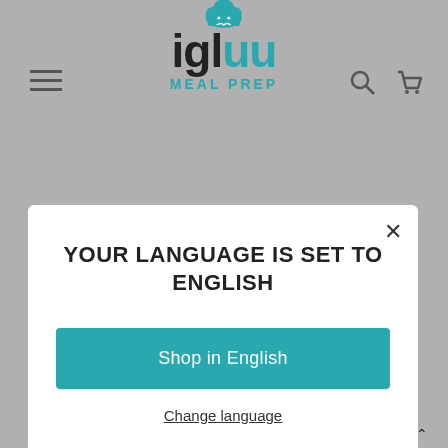[Figure (logo): igluu Meal Prep logo with chef hat icon in teal and dark text]
YOUR LANGUAGE IS SET TO ENGLISH
Shop in English
Change language
sparen
Melden Sie sich an, um Sonderangebote, kostenlose Werbegeschenke und einmalige Angebote zu erhalten.
Deutsch